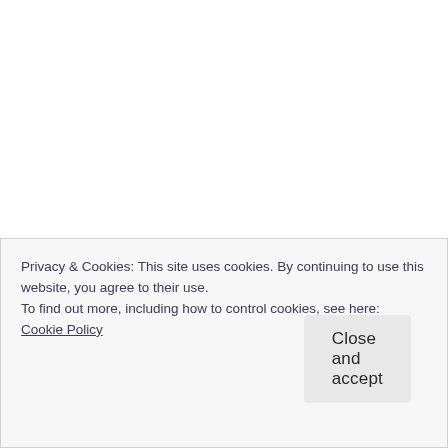Protein Pizza Recipe – Eating healthy does NOT mean you need to pass up some of your favourite treats. It just means changing them up a little and adding some healthier
Privacy & Cookies: This site uses cookies. By continuing to use this website, you agree to their use.
To find out more, including how to control cookies, see here:
Cookie Policy
Close and accept